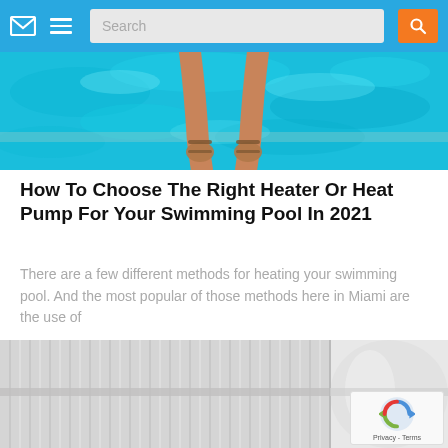Navigation bar with envelope icon, hamburger menu, search box, and search button
[Figure (photo): Top-down view of a person's legs dangling into a bright blue swimming pool with sunlit rippling water]
How To Choose The Right Heater Or Heat Pump For Your Swimming Pool In 2021
There are a few different methods for heating your swimming pool. And the most popular of those methods here in Miami are the use of
[Figure (photo): Close-up of a cylindrical pool filter cartridge with vertical white pleated elements and a white cylindrical housing on the right side]